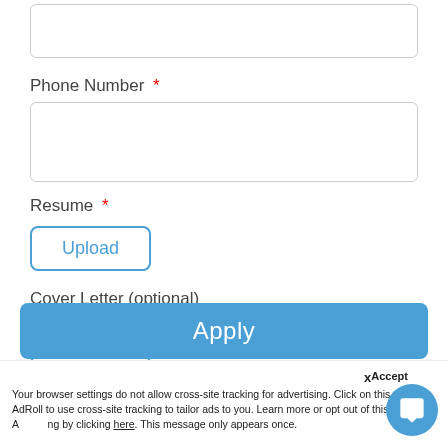[Figure (screenshot): Top input field (partially visible, cropped at top)]
Phone Number *
[Figure (screenshot): Phone number input text field (empty)]
Resume *
[Figure (screenshot): Upload button for Resume]
Cover Letter (optional)
[Figure (screenshot): Upload button for Cover Letter]
[Figure (screenshot): Apply button (blue)]
Accept
Your browser settings do not allow cross-site tracking for advertising. Click on this to allow AdRoll to use cross-site tracking to tailor ads to you. Learn more or opt out of this A ng by clicking here. This message only appears once.